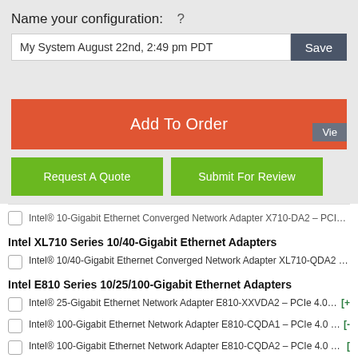Name your configuration:  ?
My System August 22nd, 2:49 pm PDT
Add To Order
Request A Quote
Submit For Review
Intel® 10-Gigabit Ethernet Converged Network Adapter X710-DA2 – PCIe 3.0 x8 – 2x SFP+
Intel XL710 Series 10/40-Gigabit Ethernet Adapters
Intel® 10/40-Gigabit Ethernet Converged Network Adapter XL710-QDA2 – PCIe 3.0 x8 –
Intel E810 Series 10/25/100-Gigabit Ethernet Adapters
Intel® 25-Gigabit Ethernet Network Adapter E810-XXVDA2 – PCIe 4.0 x8 – 2x SFP28
Intel® 100-Gigabit Ethernet Network Adapter E810-CQDA1 – PCIe 4.0 x16 – 1x QSFP28
Intel® 100-Gigabit Ethernet Network Adapter E810-CQDA2 – PCIe 4.0 x16 – 2x QSFP28
Mellanox ConnectX-5 EN Series 25/50/100-Gigabit Ethernet Adapters
Mellanox 25-Gigabit Ethernet Adapter ConnectX-5 EN – PCIe 3.0 x8 – 2x SFP28   [+404